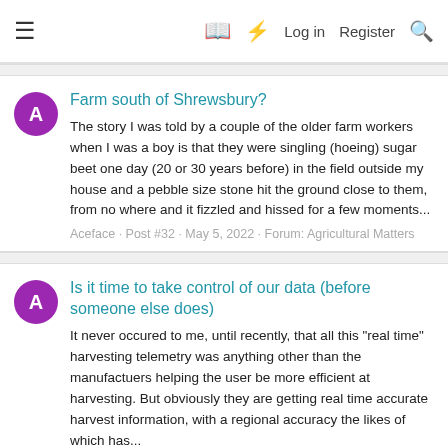≡  □  ⚡  Log in  Register  🔍
Farm south of Shrewsbury?
The story I was told by a couple of the older farm workers when I was a boy is that they were singling (hoeing) sugar beet one day (20 or 30 years before) in the field outside my house and a pebble size stone hit the ground close to them, from no where and it fizzled and hissed for a few moments...
Aceface · Post #32 · May 5, 2022 · Forum: Agricultural Matters
Is it time to take control of our data (before someone else does)
It never occured to me, until recently, that all this "real time" harvesting telemetry was anything other than the manufactuers helping the user be more efficient at harvesting. But obviously they are getting real time accurate harvest information, with a regional accuracy the likes of which has...
Aceface · Post #5 · Feb 1, 2022 · Forum: Agricultural Matters
Modern Tech and the inherent profitability of dealer